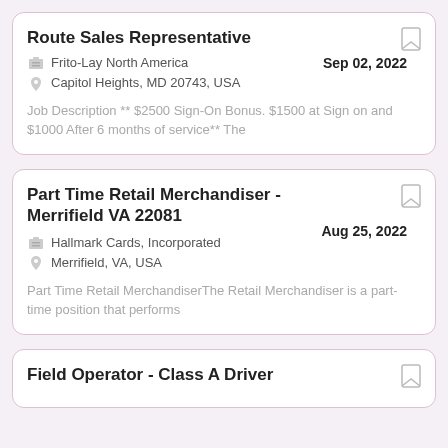Route Sales Representative
Frito-Lay North America
Capitol Heights, MD 20743, USA
Sep 02, 2022
Job Description ** $2500 Sign-On Bonus. $1500 at Sign on and $1000 After 6 months of service** The
Part Time Retail Merchandiser - Merrifield VA 22081
Hallmark Cards, Incorporated
Merrifield, VA, USA
Aug 25, 2022
Part Time Retail MerchandiserThe Retail Merchandiser is a part-time position that performs
Field Operator - Class A Driver